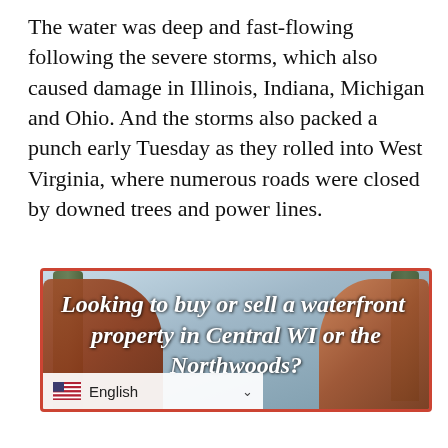The water was deep and fast-flowing following the severe storms, which also caused damage in Illinois, Indiana, Michigan and Ohio. And the storms also packed a punch early Tuesday as they rolled into West Virginia, where numerous roads were closed by downed trees and power lines.
[Figure (photo): Advertisement with outdoor lakefront scene showing two wooden Adirondack chairs, trees, and water in the background. Text overlay reads: 'Looking to buy or sell a waterfront property in Central WI or the Northwoods?' with a red/coral border. A language selector bar showing an American flag and 'English' with a dropdown chevron appears at the bottom.]